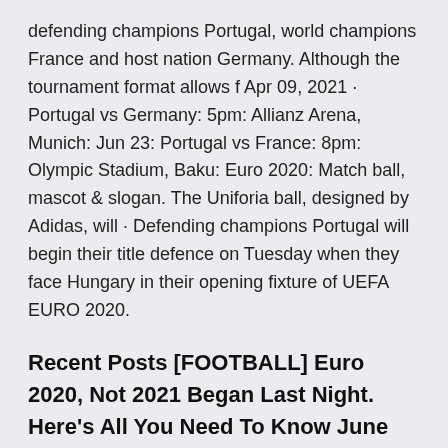defending champions Portugal, world champions France and host nation Germany. Although the tournament format allows f Apr 09, 2021 · Portugal vs Germany: 5pm: Allianz Arena, Munich: Jun 23: Portugal vs France: 8pm: Olympic Stadium, Baku: Euro 2020: Match ball, mascot & slogan. The Uniforia ball, designed by Adidas, will · Defending champions Portugal will begin their title defence on Tuesday when they face Hungary in their opening fixture of UEFA EURO 2020.
Recent Posts [FOOTBALL] Euro 2020, Not 2021 Began Last Night. Here's All You Need To Know June 12, 2021 [FACTCHECK] Gigantic Moon Eclipses Sun June 9, 2021 [STATS & FACTS] Chelsea, The Champions